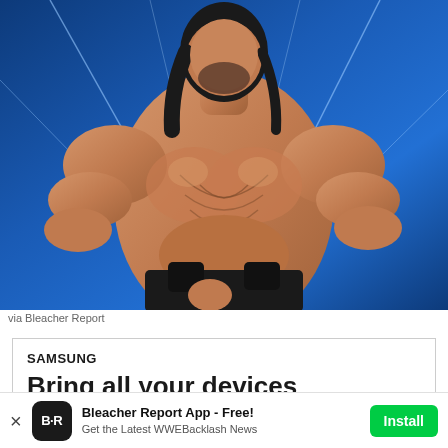[Figure (photo): Muscular shirtless male wrestler/athlete posing at WWE event with blue lighting and laser beams in the background, wearing black wrist wraps and trunks]
via Bleacher Report
[Figure (infographic): Samsung advertisement with text 'SAMSUNG' and tagline 'Bring all your devices into the fold']
Bleacher Report App - Free! Get the Latest WWEBacklash News